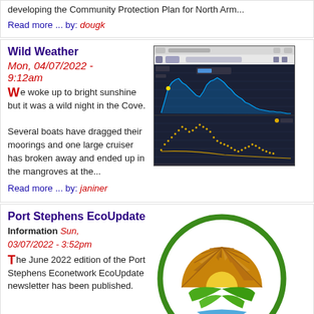developing the Community Protection Plan for North Arm...
Read more ... by: dougk
Wild Weather
Mon, 04/07/2022 - 9:12am
We woke up to bright sunshine but it was a wild night in the Cove.

Several boats have dragged their moorings and one large cruiser has broken away and ended up in the mangroves at the...
[Figure (screenshot): Screenshot of a weather/wind monitoring app showing wind speed graph with blue spikes over a dark background and a lower scatter/line chart]
Read more ... by: janiner
Port Stephens EcoUpdate
Information Sun, 03/07/2022 - 3:52pm
The June 2022 edition of the Port Stephens Econetwork EcoUpdate newsletter has been published.
[Figure (logo): Port Stephens Econetwork logo: circular green border with a stylized sun (gold/brown segments) and green leaf shapes below on a white background]